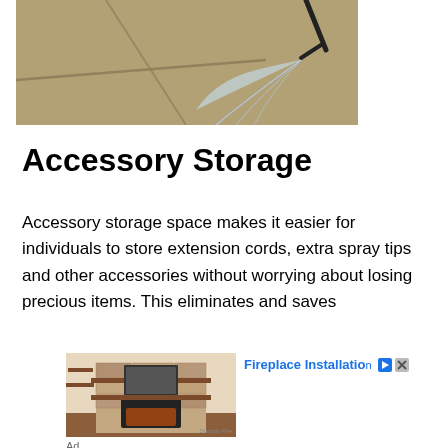[Figure (photo): A pressure washer wand spraying water onto a concrete/stone surface, viewed from above at an angle]
Accessory Storage
Accessory storage space makes it easier for individuals to store extension cords, extra spray tips and other accessories without worrying about losing precious items. This eliminates and saves
[Figure (photo): A stone fireplace with wood mantel shelves and a wall-mounted TV or mirror in a living room setting. Watermark reads 'Dundas Fire'.]
Fireplace Installation
Ad